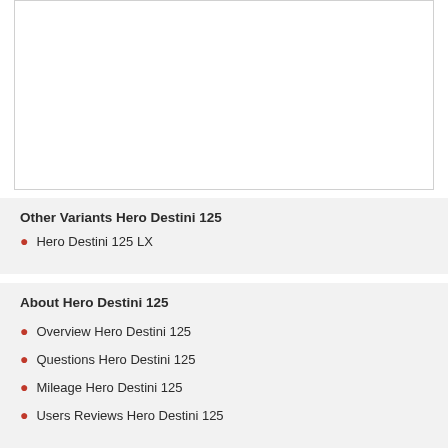[Figure (photo): Empty white image box, possibly a product image placeholder for Hero Destini 125]
Other Variants Hero Destini 125
Hero Destini 125 LX
About Hero Destini 125
Overview Hero Destini 125
Questions Hero Destini 125
Mileage Hero Destini 125
Users Reviews Hero Destini 125